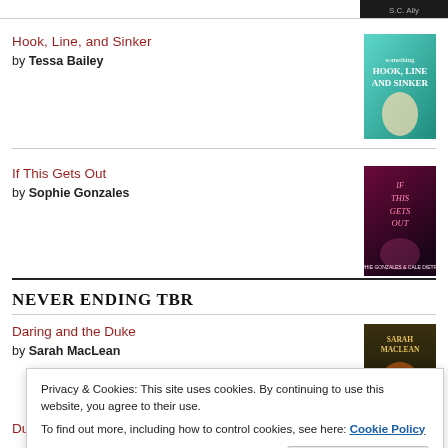[Figure (photo): Partial book cover visible at top right corner, dark colored]
Hook, Line, and Sinker by Tessa Bailey
If This Gets Out by Sophie Gonzales
NEVER ENDING TBR
Daring and the Duke by Sarah MacLean
Privacy & Cookies: This site uses cookies. By continuing to use this website, you agree to their use.
To find out more, including how to control cookies, see here: Cookie Policy
Close and accept
Dukes Do It Better